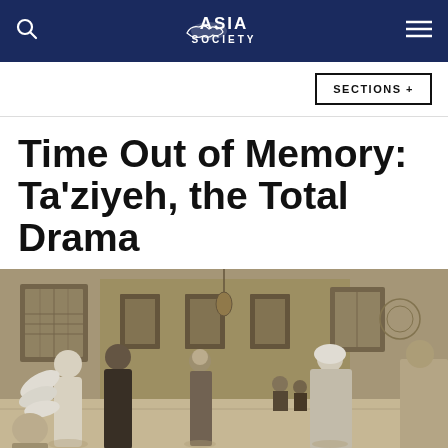ASIA SOCIETY
SECTIONS +
Time Out of Memory: Ta'ziyeh, the Total Drama
[Figure (photo): Black and white photograph showing performers in a Ta'ziyeh theatrical performance inside an ornate building with arched windows and decorative walls. Multiple figures are visible including performers in costume, one wearing white feathered attire on the left, others in dark robes, and a figure in a white headscarf on the right.]